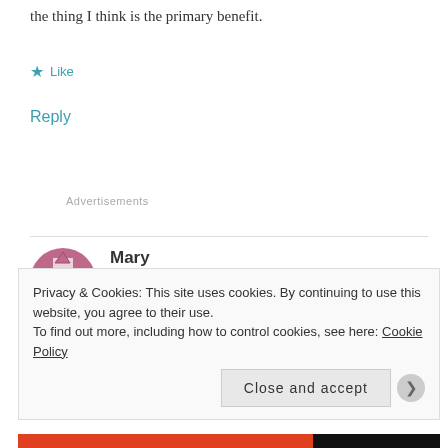the thing I think is the primary benefit.
★ Like
Reply
Advertisements
Mary
JULY 17, 2008 AT 6:39 PM
Privacy & Cookies: This site uses cookies. By continuing to use this website, you agree to their use.
To find out more, including how to control cookies, see here: Cookie Policy
Close and accept